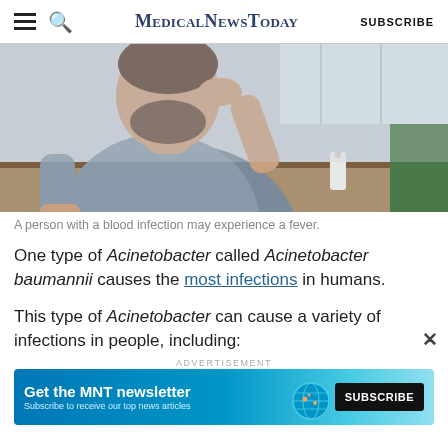MedicalNewsToday SUBSCRIBE
[Figure (photo): A man with a beard, wearing a gray t-shirt, leaning forward with his hand on his forehead, appearing distressed or ill.]
A person with a blood infection may experience a fever.
One type of Acinetobacter called Acinetobacter baumannii causes the most infections in humans.
This type of Acinetobacter can cause a variety of infections in people, including:
[Figure (infographic): Advertisement banner: Get the MNT newsletter. Subscribe to receive our top news articles. SUBSCRIBE button. Turquoise/blue gradient background with a globe graphic.]